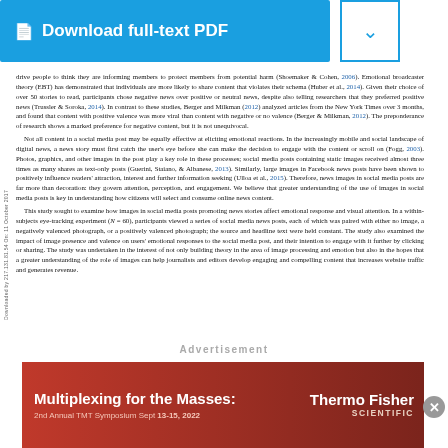[Figure (other): Download full-text PDF button (blue) with dropdown arrow]
drive people to think they are informing members to protect members from potential harm (Shoemaker & Cohen, 2006). Emotional broadcaster theory (EBT) has demonstrated that individuals are more likely to share content that violates their schema (Huber et al., 2014). Given their choice of over 50 stories to read, participants chose negative news over positive or neutral news, despite also telling researchers that they preferred positive news (Trussler & Soroka, 2014). In contrast to these studies, Berger and Milkman (2012) analyzed articles from the New York Times over 3 months, and found that content with positive valence was more viral than content with negative or no valence (Berger & Milkman, 2012). The preponderance of research shows a marked preference for negative content, but it is not unequivocal. Not all content in a social media post may be equally effective at eliciting emotional reactions. In the increasingly mobile and social landscape of digital news, a news story must first catch the user's eye before she can make the decision to engage with the content or scroll on (Fogg, 2003). Photos, graphics, and other images in the post play a key role in these processes; social media posts containing static images received almost three times as many shares as text-only posts (Guerini, Staiano, & Albanese, 2013). Similarly, large images in Facebook news posts have been shown to positively influence readers' attraction, interest and further information seeking (Ulloa et al., 2015). Therefore, news images in social media posts are far more than decoration: they govern attention, perception, and engagement. We believe that greater understanding of the use of images in social media posts is key in understanding how citizens will select and consume online news content. This study sought to examine how images in social media posts promoting news stories affect emotional response and visual attention. In a within-subjects eye-tracking experiment (N = 60), participants viewed a series of social media news posts, each of which was paired with either no image, a negatively valenced photograph, or a positively valenced photograph; the source and headline text were held constant. The study also examined the impact of image presence and valence on users' emotional responses to the social media post, and their intention to engage with it further by clicking or sharing. The study was undertaken in the interest of not only building theory in the area of image processing and emotion but also in the hopes that a greater understanding of the role of images can help journalists and editors develop engaging and compelling content that increases website traffic and generates revenue.
[Figure (other): Advertisement banner: Thermo Fisher Scientific - Multiplexing for the Masses, 2nd Annual TMT Symposium Sept 13-15, 2022]